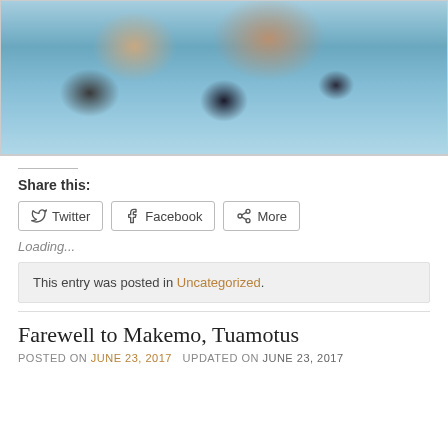[Figure (photo): Two people swimming in shallow turquoise water at a beach, smiling at the camera. A man and a woman in swimwear lying/floating in the water.]
Share this:
Twitter  Facebook  More
Loading...
This entry was posted in Uncategorized.
Farewell to Makemo, Tuamotus
POSTED ON JUNE 23, 2017  UPDATED ON JUNE 23, 2017